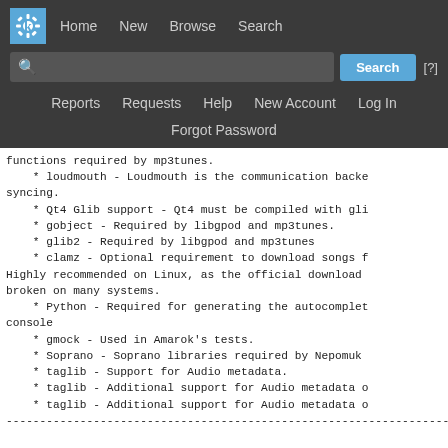[Figure (screenshot): KDE software repository website navigation bar with logo, search field, and navigation links including Home, New, Browse, Search, Reports, Requests, Help, New Account, Log In, and Forgot Password]
functions required by mp3tunes.
    * loudmouth - Loudmouth is the communication backe syncing.
    * Qt4 Glib support - Qt4 must be compiled with gli
    * gobject - Required by libgpod and mp3tunes.
    * glib2 - Required by libgpod and mp3tunes
    * clamz - Optional requirement to download songs f Highly recommended on Linux, as the official download broken on many systems.
    * Python - Required for generating the autocomplete console
    * gmock - Used in Amarok's tests.
    * Soprano - Soprano libraries required by Nepomuk
    * taglib - Support for Audio metadata.
    * taglib - Additional support for Audio metadata o
    * taglib - Additional support for Audio metadata o
------------------------------------------------------------------------